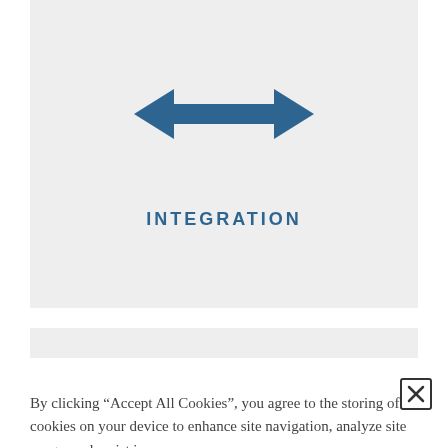[Figure (illustration): Gray background panel with a double-headed arrow icon in steel blue color, pointing left and right. Below the arrow is the bold uppercase text INTEGRATION in steel blue.]
By clicking “Accept All Cookies”, you agree to the storing of cookies on your device to enhance site navigation, analyze site usage, and assist in our